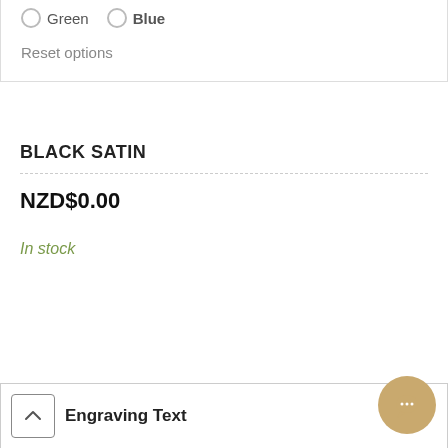Green
Blue
Reset options
BLACK SATIN
NZD$0.00
In stock
Engraving Text